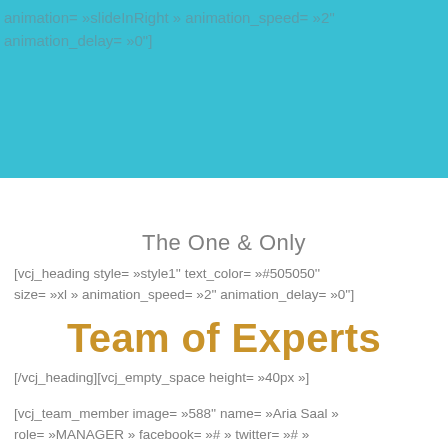animation= »slideInRight » animation_speed= »2''
animation_delay= »0"]
The One & Only
[vcj_heading style= »style1'' text_color= »#505050'' size= »xl » animation_speed= »2'' animation_delay= »0'']
Team of Experts
[/vcj_heading][vcj_empty_space height= »40px »]
[vcj_team_member image= »588'' name= »Aria Saal » role= »MANAGER » facebook= »# » twitter= »# »